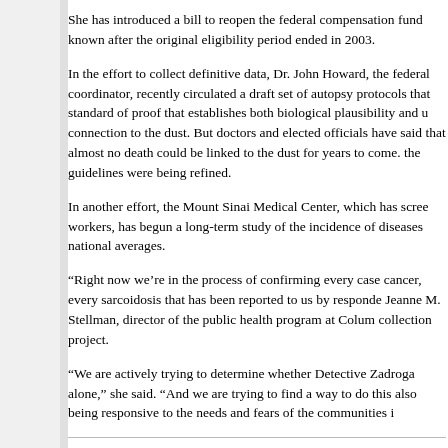She has introduced a bill to reopen the federal compensation fund known after the original eligibility period ended in 2003.
In the effort to collect definitive data, Dr. John Howard, the federal coordinator, recently circulated a draft set of autopsy protocols that standard of proof that establishes both biological plausibility and u connection to the dust. But doctors and elected officials have said that almost no death could be linked to the dust for years to come. the guidelines were being refined.
In another effort, the Mount Sinai Medical Center, which has scree workers, has begun a long-term study of the incidence of diseases national averages.
“Right now we’re in the process of confirming every case cancer, every sarcoidosis that has been reported to us by responde Jeanne M. Stellman, director of the public health program at Colum collection project.
“We are actively trying to determine whether Detective Zadroga alone,” she said. “And we are trying to find a way to do this also being responsive to the needs and fears of the communities i
No One Knows Everything. Only Together May We Find The Truth